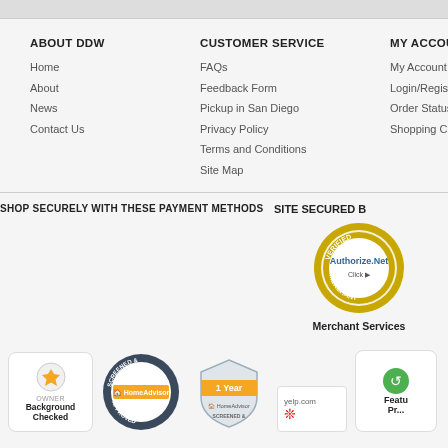ABOUT DDW
Home
About
News
Contact Us
CUSTOMER SERVICE
FAQs
Feedback Form
Pickup in San Diego
Privacy Policy
Terms and Conditions
Site Map
MY ACCOUNT
My Account
Login/Register
Order Status
Shopping Cart
SHOP SECURELY WITH THESE PAYMENT METHODS
SITE SECURED B
[Figure (logo): Authorize.Net Verified Merchant badge with gold circular border]
Merchant Services
[Figure (logo): HomeAdvisor Owner Background Checked badge]
[Figure (logo): HomeAdvisor Screened and Approved badge]
[Figure (logo): HomeAdvisor 1 Year Screened badge]
[Figure (logo): Yelp.com logo with red yelp icon]
[Figure (logo): Featured Pr... badge (partially visible)]